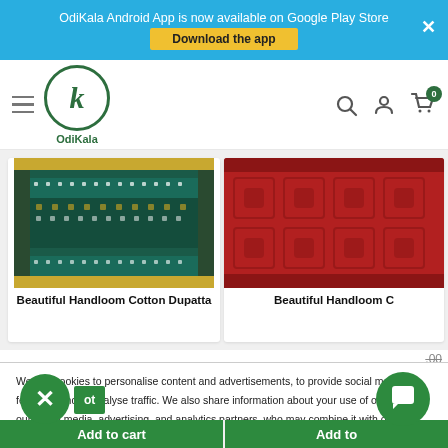OdiKala Android App is now available on Google Play Store
[Figure (screenshot): OdiKala e-commerce website screenshot showing navbar with logo, hamburger menu, search, user and cart icons, product cards for handloom cotton dupattas, cookie consent banner, and Add to Cart buttons]
We use cookies to personalise content and advertisements, to provide social media features, and to analyse traffic. We also share information about your use of our site with our social media, advertising, and analytics partners, who may combine it with other information you've provided to them or that they've collected from your use of their services.
Beautiful Handloom Cotton Dupatta
Beautiful Handloom C
Add to cart
Add to